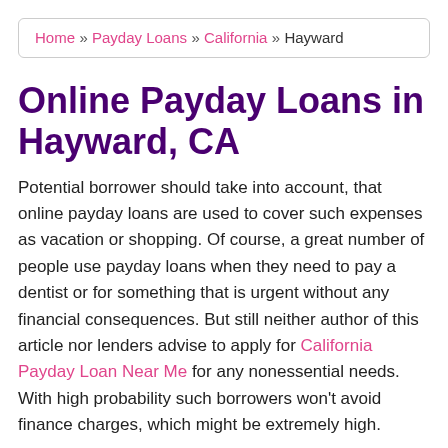Home » Payday Loans » California » Hayward
Online Payday Loans in Hayward, CA
Potential borrower should take into account, that online payday loans are used to cover such expenses as vacation or shopping. Of course, a great number of people use payday loans when they need to pay a dentist or for something that is urgent without any financial consequences. But still neither author of this article nor lenders advise to apply for California Payday Loan Near Me for any nonessential needs. With high probability such borrowers won't avoid finance charges, which might be extremely high.